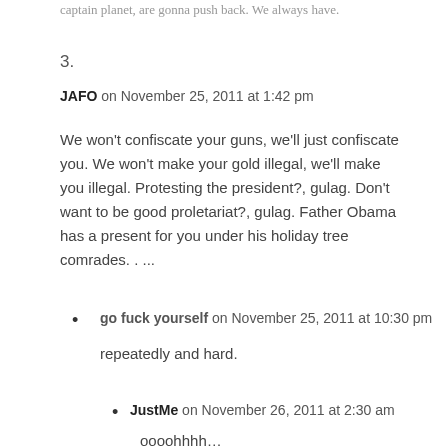captain planet, are gonna push back. We always have.
3.
JAFO on November 25, 2011 at 1:42 pm
We won't confiscate your guns, we'll just confiscate you. We won't make your gold illegal, we'll make you illegal. Protesting the president?, gulag. Don't want to be good proletariat?, gulag. Father Obama has a present for you under his holiday tree comrades. . ...
go fuck yourself on November 25, 2011 at 10:30 pm
repeatedly and hard.
JustMe on November 26, 2011 at 2:30 am
oooohhhh…